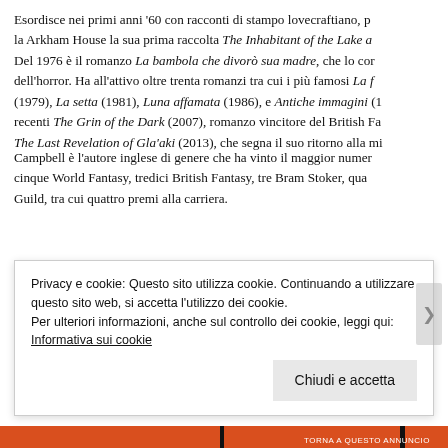Esordisce nei primi anni '60 con racconti di stampo lovecraftiano, p… la Arkham House la sua prima raccolta The Inhabitant of the Lake a… Del 1976 è il romanzo La bambola che divorò sua madre, che lo cor… dell'horror. Ha all'attivo oltre trenta romanzi tra cui i più famosi La f… (1979), La setta (1981), Luna affamata (1986), e Antiche immagini (1… recenti The Grin of the Dark (2007), romanzo vincitore del British Fa… The Last Revelation of Gla'aki (2013), che segna il suo ritorno alla mi…
Campbell è l'autore inglese di genere che ha vinto il maggior numer… cinque World Fantasy, tredici British Fantasy, tre Bram Stoker, qua… Guild, tra cui quattro premi alla carriera.
Privacy e cookie: Questo sito utilizza cookie. Continuando a utilizzare questo sito web, si accetta l'utilizzo dei cookie. Per ulteriori informazioni, anche sul controllo dei cookie, leggi qui: Informativa sui cookie
Chiudi e accetta